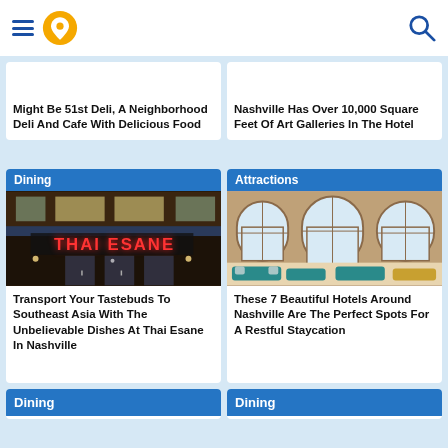Navigation header with hamburger menu, location pin icon, and search icon
Might Be 51st Deli, A Neighborhood Deli And Cafe With Delicious Food
Nashville Has Over 10,000 Square Feet Of Art Galleries In The Hotel
Dining
[Figure (photo): Exterior of Thai Esane restaurant at night with neon sign]
Transport Your Tastebuds To Southeast Asia With The Unbelievable Dishes At Thai Esane In Nashville
Attractions
[Figure (photo): Interior of a hotel lobby with tall arched windows and elegant furniture]
These 7 Beautiful Hotels Around Nashville Are The Perfect Spots For A Restful Staycation
Dining
Dining